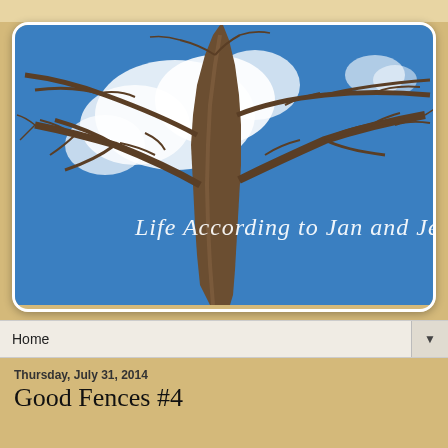[Figure (photo): Blog header image showing a bare winter tree with brown branches against a bright blue sky with white clouds. White cursive text overlay reads 'Life According to Jan and Jer']
Home
Thursday, July 31, 2014
Good Fences #4